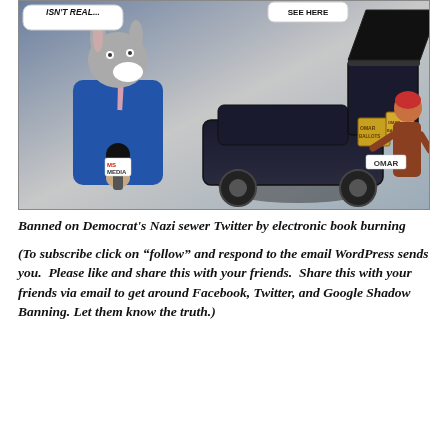[Figure (illustration): Political cartoon showing a donkey (Democrat symbol) dressed as a mainstream media reporter holding a microphone labeled 'MS MEDIA', with speech bubbles saying 'ISN'T REAL...' and 'SEE HERE'. A figure labeled 'OMAR' is loading boxes labeled 'OMAR BALLOTS' into the trunk of a black car.]
Banned on Democrat's Nazi sewer Twitter by electronic book burning
(To subscribe click on “follow” and respond to the email WordPress sends you.  Please like and share this with your friends.  Share this with your friends via email to get around Facebook, Twitter, and Google Shadow Banning. Let them know the truth.)